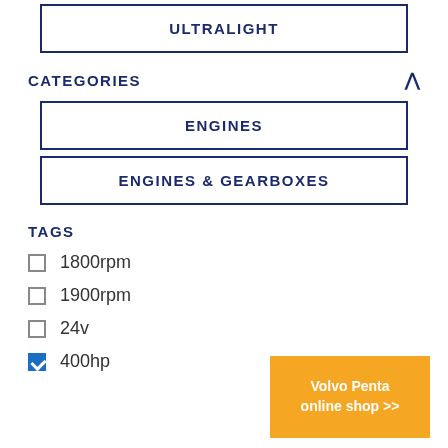ULTRALIGHT
CATEGORIES
ENGINES
ENGINES & GEARBOXES
TAGS
1800rpm
1900rpm
24v
400hp
[Figure (infographic): Volvo Penta online shop >> banner in orange/amber color]